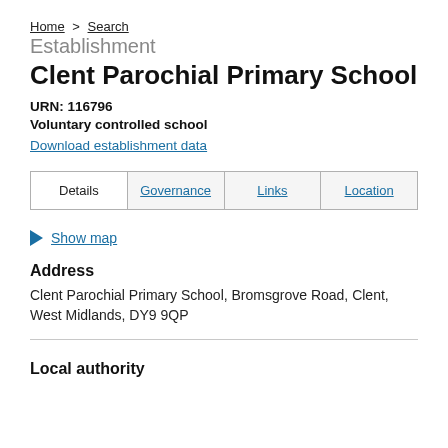Home > Search
Establishment
Clent Parochial Primary School
URN: 116796
Voluntary controlled school
Download establishment data
| Details | Governance | Links | Location |
| --- | --- | --- | --- |
Show map
Address
Clent Parochial Primary School, Bromsgrove Road, Clent, West Midlands, DY9 9QP
Local authority